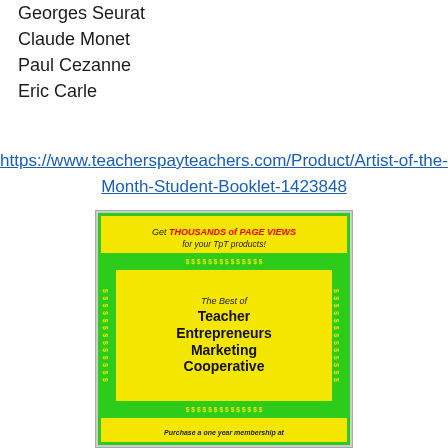Georges Seurat
Claude Monet
Paul Cezanne
Eric Carle
https://www.teacherspayteachers.com/Product/Artist-of-the-Month-Student-Booklet-1423848
[Figure (illustration): TeachersPayTeachers advertisement banner showing 'Get THOUSANDS of PAGE VIEWS for your TpT products!' in yellow banner, and below a green-bordered yellow box with dollar signs around it showing 'The Best of Teacher Entrepreneurs Marketing Cooperative', and a partially visible bottom banner reading 'Purchase a one year membership at']